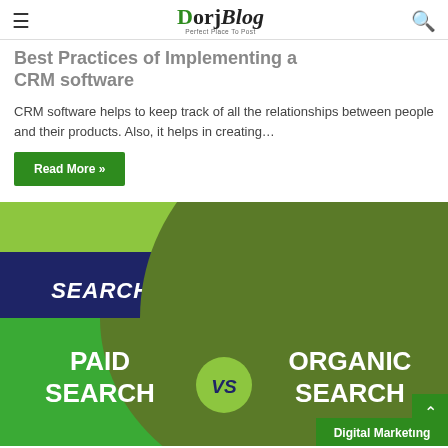DorjBlog — Perfect Place To Post
Best Practices of Implementing a CRM software
CRM software helps to keep track of all the relationships between people and their products. Also, it helps in creating…
Read More »
[Figure (infographic): Search Engine Marketing infographic showing Paid Search VS Organic Search with green and navy blue design, and a Digital Marketing tag in the bottom right corner.]